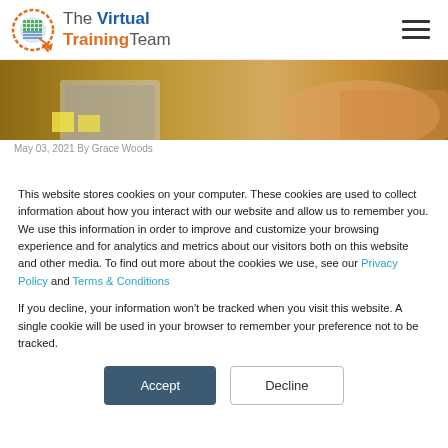[Figure (logo): The Virtual Training Team logo with globe icon]
[Figure (photo): Banner photo showing person at desk with laptop and sticky notes]
May 03, 2021 By Grace Woods
This website stores cookies on your computer. These cookies are used to collect information about how you interact with our website and allow us to remember you. We use this information in order to improve and customize your browsing experience and for analytics and metrics about our visitors both on this website and other media. To find out more about the cookies we use, see our Privacy Policy and Terms & Conditions
If you decline, your information won't be tracked when you visit this website. A single cookie will be used in your browser to remember your preference not to be tracked.